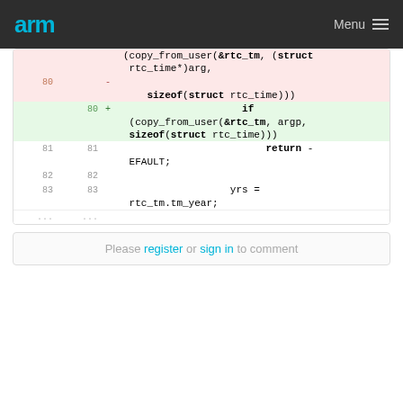arm   Menu
[Figure (screenshot): Code diff view showing removed lines (pink background) with line number 80 and added lines (green background) with line number 80, plus context lines 81, 82, 83 showing C code for copy_from_user and rtc_time operations]
Please register or sign in to comment